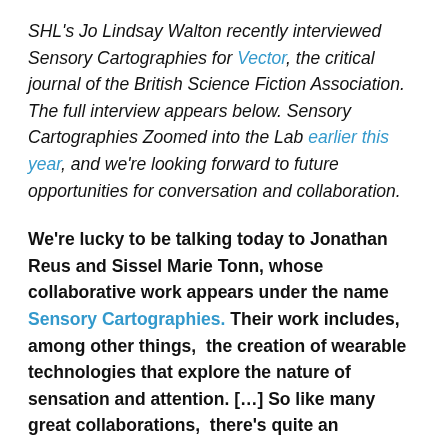SHL's Jo Lindsay Walton recently interviewed Sensory Cartographies for Vector, the critical journal of the British Science Fiction Association. The full interview appears below. Sensory Cartographies Zoomed into the Lab earlier this year, and we're looking forward to future opportunities for conversation and collaboration.
We're lucky to be talking today to Jonathan Reus and Sissel Marie Tonn, whose collaborative work appears under the name Sensory Cartographies. Their work includes, among other things,  the creation of wearable technologies that explore the nature of sensation and attention. […] So like many great collaborations, there's quite an